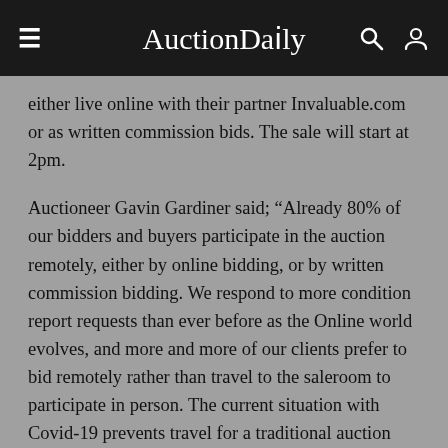AuctionDaily
either live online with their partner Invaluable.com or as written commission bids. The sale will start at 2pm.
Auctioneer Gavin Gardiner said; “Already 80% of our bidders and buyers participate in the auction remotely, either by online bidding, or by written commission bidding. We respond to more condition report requests than ever before as the Online world evolves, and more and more of our clients prefer to bid remotely rather than travel to the saleroom to participate in person. The current situation with Covid-19 prevents travel for a traditional auction and we are already ideally placed to respond by presenting the auction exclusively online for the first time. We value our customer feedback and look forward to a successful auction on April